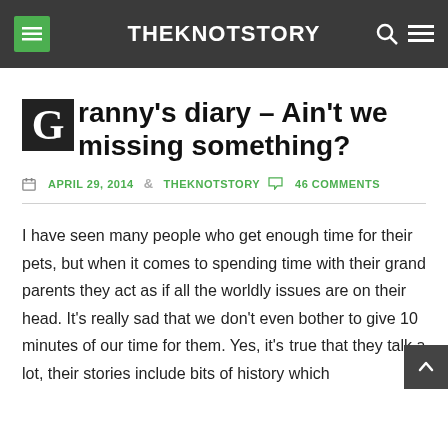THEKNOTSTORY
Granny's diary – Ain't we missing something?
APRIL 29, 2014  &  THEKNOTSTORY  46 COMMENTS
I have seen many people who get enough time for their pets, but when it comes to spending time with their grand parents they act as if all the worldly issues are on their head. It's really sad that we don't even bother to give 10 minutes of our time for them. Yes, it's true that they talk a lot, their stories include bits of history which